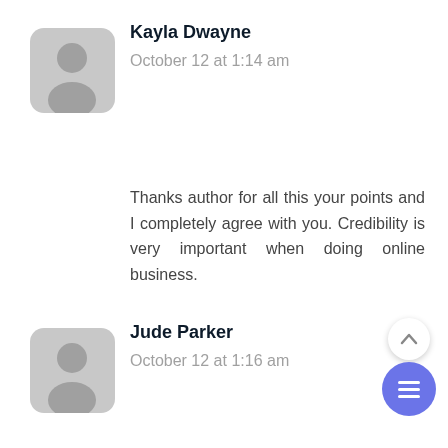Kayla Dwayne
October 12 at 1:14 am
Thanks author for all this your points and I completely agree with you. Credibility is very important when doing online business.
Jude Parker
October 12 at 1:16 am